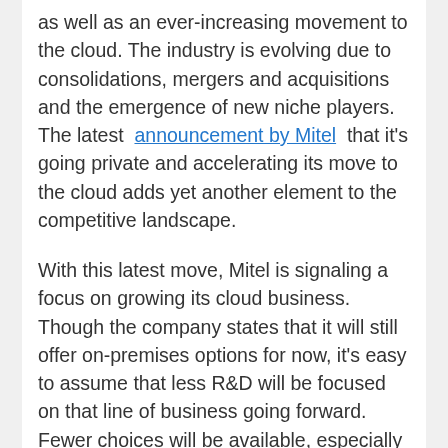as well as an ever-increasing movement to the cloud. The industry is evolving due to consolidations, mergers and acquisitions and the emergence of new niche players. The latest announcement by Mitel that it's going private and accelerating its move to the cloud adds yet another element to the competitive landscape.
With this latest move, Mitel is signaling a focus on growing its cloud business. Though the company states that it will still offer on-premises options for now, it's easy to assume that less R&D will be focused on that line of business going forward. Fewer choices will be available, especially for